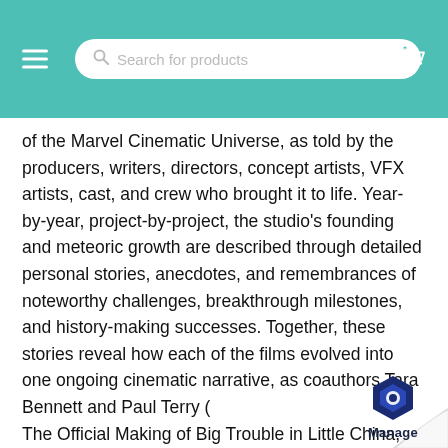Search for products
of the Marvel Cinematic Universe, as told by the producers, writers, directors, concept artists, VFX artists, cast, and crew who brought it to life. Year-by-year, project-by-project, the studio's founding and meteoric growth are described through detailed personal stories, anecdotes, and remembrances of noteworthy challenges, breakthrough milestones, and history-making successes. Together, these stories reveal how each of the films evolved into one ongoing cinematic narrative, as coauthors Tara Bennett and Paul Terry ( The Official Making of Big Trouble in Little China, 2017) chart the complete production history of The Infinity Saga's 23 movies (from 2008's Iron Man all the way up to, and including, 2019's Avengers: Endgame and